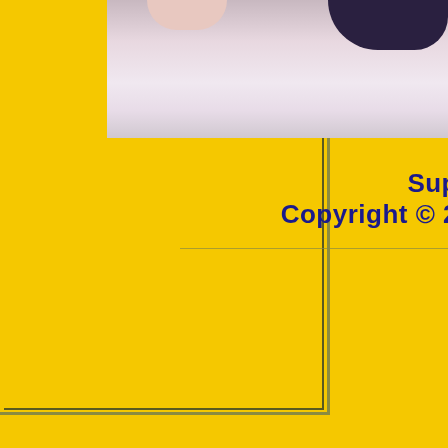[Figure (photo): Partial view of a person (hair and body visible) on a light background, cropped at the top of the page]
Sup
Copyright © 2